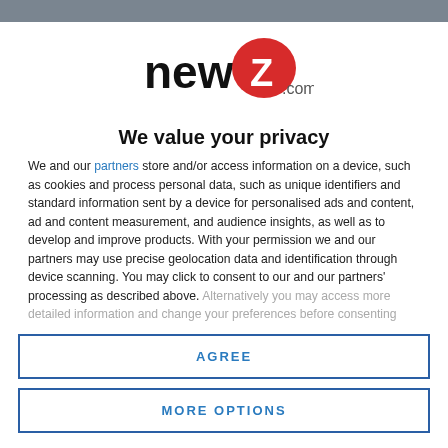[Figure (logo): newZ.com logo with red speech bubble containing white Z]
We value your privacy
We and our partners store and/or access information on a device, such as cookies and process personal data, such as unique identifiers and standard information sent by a device for personalised ads and content, ad and content measurement, and audience insights, as well as to develop and improve products. With your permission we and our partners may use precise geolocation data and identification through device scanning. You may click to consent to our and our partners' processing as described above. Alternatively you may access more detailed information and change your preferences before consenting
AGREE
MORE OPTIONS